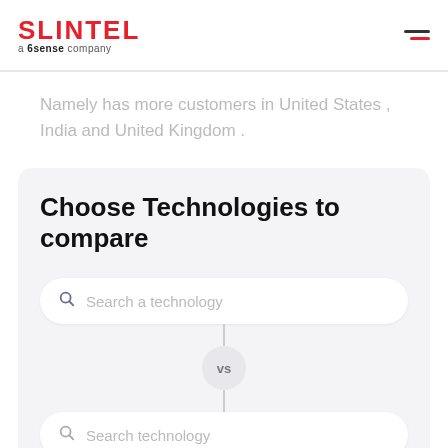SLINTEL a 6sense company
Namely has more customers in United States , India and United Kingdom .
Choose Technologies to compare
Search a technology
vs
Search technology